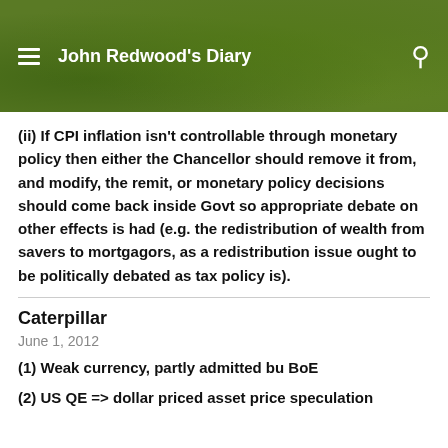John Redwood's Diary
(ii) If CPI inflation isn't controllable through monetary policy then either the Chancellor should remove it from, and modify, the remit, or monetary policy decisions should come back inside Govt so appropriate debate on other effects is had (e.g. the redistribution of wealth from savers to mortgagors, as a redistribution issue ought to be politically debated as tax policy is).
Caterpillar
June 1, 2012
(1) Weak currency, partly admitted bu BoE
(2) US QE => dollar priced asset price speculation